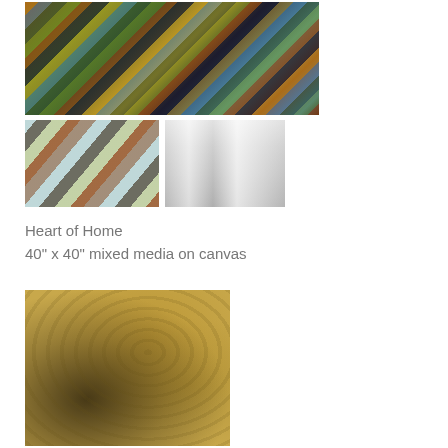[Figure (photo): Large abstract mixed media painting showing diagonal brushstrokes in earthy browns, greens, teals, blues, and golds]
[Figure (photo): Close-up detail of abstract painting with warm orange-brown and green tones]
[Figure (photo): Interior room scene showing the painting hung above a fireplace mantle in a bright living room]
Heart of Home
40" x 40" mixed media on canvas
[Figure (photo): Abstract painting of a tree with dark branches and leaves on a golden yellow textured background]